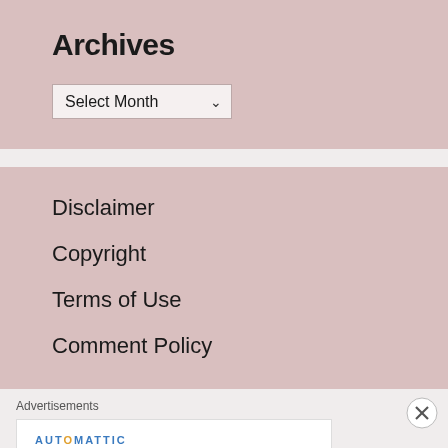Archives
Select Month
Disclaimer
Copyright
Terms of Use
Comment Policy
Advertisements
[Figure (other): Automattic advertisement banner: 'Build a better web and a better world.']